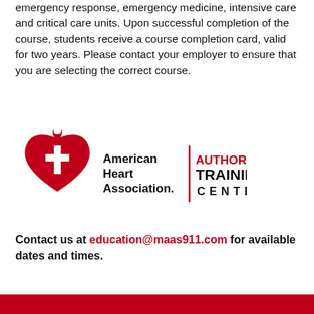emergency response, emergency medicine, intensive care and critical care units. Upon successful completion of the course, students receive a course completion card, valid for two years. Please contact your employer to ensure that you are selecting the correct course.
[Figure (logo): American Heart Association Authorized Training Center logo]
Contact us at education@maas911.com for available dates and times.